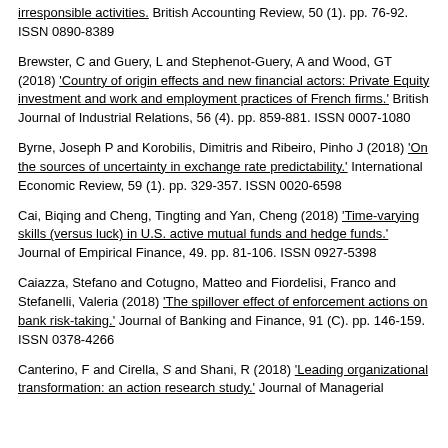irresponsible activities.' British Accounting Review, 50 (1). pp. 76-92. ISSN 0890-8389
Brewster, C and Guery, L and Stephenot-Guery, A and Wood, GT (2018) 'Country of origin effects and new financial actors: Private Equity investment and work and employment practices of French firms.' British Journal of Industrial Relations, 56 (4). pp. 859-881. ISSN 0007-1080
Byrne, Joseph P and Korobilis, Dimitris and Ribeiro, Pinho J (2018) 'On the sources of uncertainty in exchange rate predictability.' International Economic Review, 59 (1). pp. 329-357. ISSN 0020-6598
Cai, Biqing and Cheng, Tingting and Yan, Cheng (2018) 'Time-varying skills (versus luck) in U.S. active mutual funds and hedge funds.' Journal of Empirical Finance, 49. pp. 81-106. ISSN 0927-5398
Caiazza, Stefano and Cotugno, Matteo and Fiordelisi, Franco and Stefanelli, Valeria (2018) 'The spillover effect of enforcement actions on bank risk-taking.' Journal of Banking and Finance, 91 (C). pp. 146-159. ISSN 0378-4266
Canterino, F and Cirella, S and Shani, R (2018) 'Leading organizational transformation: an action research study.' Journal of Managerial